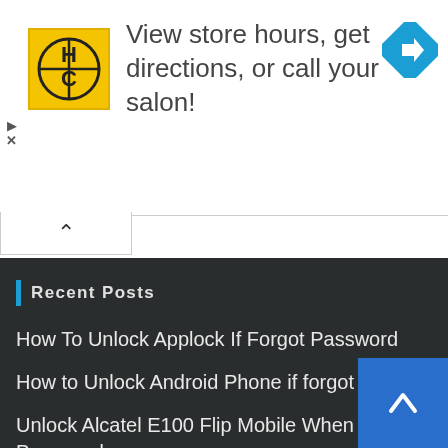[Figure (advertisement): HC salon advertisement banner with yellow logo, text 'View store hours, get directions, or call your salon!', blue diamond navigation icon, and play/close controls on left side.]
[Figure (other): Collapse/expand chevron button bar below the advertisement]
Recent Posts
How To Unlock Applock If Forgot Password
How to Unlock Android Phone if forgot pin
Unlock Alcatel E100 Flip Mobile When Forgot Password
How To Unlock Voltas AC Remote